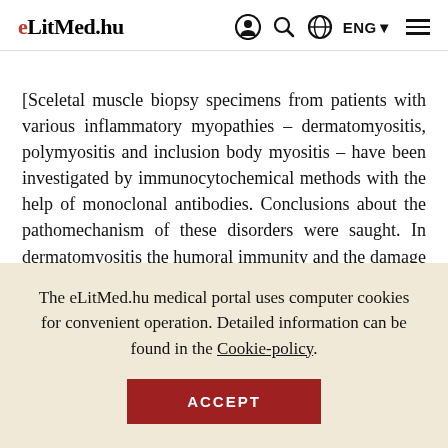eLitMed.hu | ENG
[Sceletal muscle biopsy specimens from patients with various inflammatory myopathies – dermatomyositis, polymyositis and inclusion body myositis – have been investigated by immunocytochemical methods with the help of monoclonal antibodies. Conclusions about the pathomechanism of these disorders were saught. In dermatomyositis the humoral immunity and the damage of the small vessels of muscle fibres may play an
The eLitMed.hu medical portal uses computer cookies for convenient operation. Detailed information can be found in the Cookie-policy.
ACCEPT